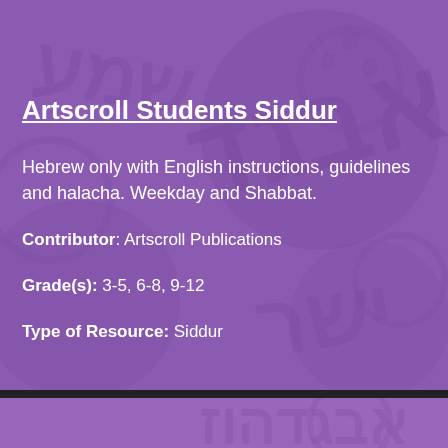Artscroll Students Siddur
Hebrew only with English instructions, guidelines and halacha. Weekday and Shabbat.
Contributor: Artscroll Publications
Grade(s): 3-5, 6-8, 9-12
Type of Resource: Siddur
Koren Youth Siddur